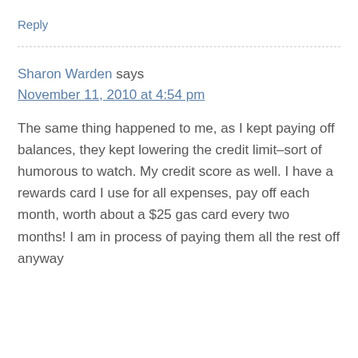Reply
Sharon Warden says
November 11, 2010 at 4:54 pm
The same thing happened to me, as I kept paying off balances, they kept lowering the credit limit–sort of humorous to watch. My credit score as well. I have a rewards card I use for all expenses, pay off each month, worth about a $25 gas card every two months! I am in process of paying them all the rest off anyway